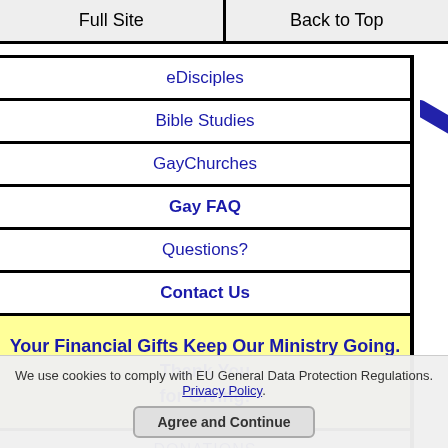Full Site | Back to Top
eDisciples
Bible Studies
GayChurches
Gay FAQ
Questions?
Contact Us
Your Financial Gifts Keep Our Ministry Going.
Thank You for Giving!
DONATIONS
Buy Our Incredible
[Figure (illustration): Partial blue checkmark or arrow graphic visible in upper right area]
We use cookies to comply with EU General Data Protection Regulations. Privacy Policy. Agree and Continue